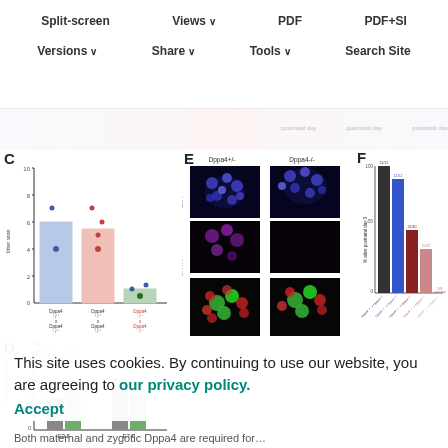Split-screen | Views | PDF | PDF+SI | Versions | Share | Tools | Search Site
[Figure (bar-chart): C - Litter size]
[Figure (bar-chart): D - Number of embryos]
[Figure (photo): Panel E: Immunofluorescence images of blastocysts from Dppa4+/- and Dppa4-/- embryos stained with DAPI (blue), DPPA4 (magenta), and CDX2/NANOG (green/red)]
[Figure (bar-chart): F - % alive postnatal day 3]
This site uses cookies. By continuing to use our website, you are agreeing to our privacy policy.
Accept
Both maternal and zygotic Dppa4 are required for…